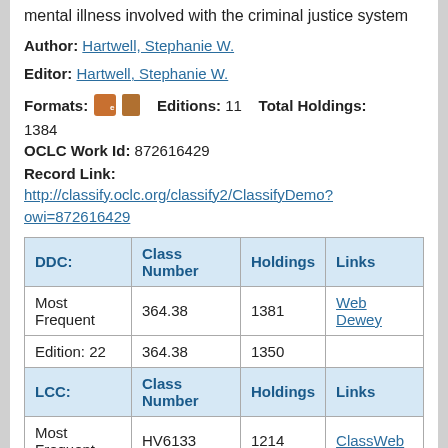mental illness involved with the criminal justice system
Author: Hartwell, Stephanie W.
Editor: Hartwell, Stephanie W.
Formats: [ebook icon] [book icon]   Editions: 11   Total Holdings: 1384
OCLC Work Id: 872616429
Record Link:
http://classify.oclc.org/classify2/ClassifyDemo?owi=872616429
| DDC: | Class Number | Holdings | Links |
| --- | --- | --- | --- |
| Most Frequent | 364.38 | 1381 | Web Dewey |
| Edition: 22 | 364.38 | 1350 |  |
| LCC: | Class Number | Holdings | Links |
| Most Frequent | HV6133 | 1214 | ClassWeb |
| NLM: | Class Number | Holdings | Links |